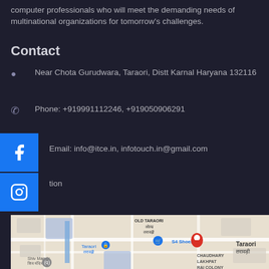computer professionals who will meet the demanding needs of multinational organizations for tomorrow's challenges.
Contact
Near Chota Gurudwara, Taraori, Distt Karnal Haryana 132116
Phone: +919991112246, +919050906291
Email: info@itce.in, infotouch.in@gmail.com
tion
[Figure (map): Google Maps screenshot showing Taraori area with markers for S4 Shoes and other locations near Old Taraori, Chaudhary Lakhpat Rai Colony, Shiv Mandir]